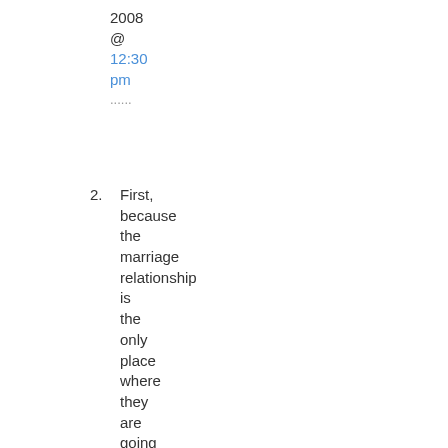2008 @ 12:30 pm ......
2. First, because the marriage relationship is the only place where they are going to learn how truly love someone despite their